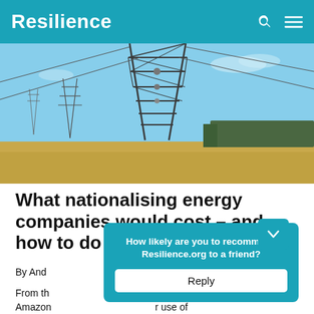Resilience
[Figure (photo): Electricity transmission tower (pylon) in a field under blue sky, with additional pylons in the background and trees on the horizon]
What nationalising energy companies would cost – and how to do it
By And…
From th… g of the Amazon… r use of